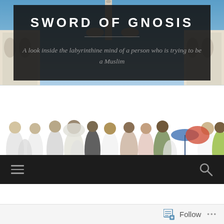[Figure (photo): Background photo of Mecca/Kaaba area with crowd of pilgrims in white and colorful garments, with Islamic architecture visible in background against blue sky. A dark semi-transparent overlay box is overlaid on the upper portion showing the site title and tagline.]
SWORD OF GNOSIS
A look inside the labyrinthine mind of a person who is trying to be a Muslim
Follow ...